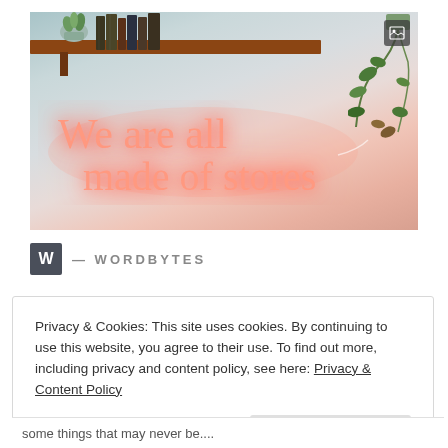[Figure (photo): Neon sign reading 'We are all made of stories' in pink/coral neon lettering mounted on a pale wall, with a wooden shelf above holding books and a potted plant, and trailing green plants on the right side.]
W — WORDBYTES
Privacy & Cookies: This site uses cookies. By continuing to use this website, you agree to their use. To find out more, including privacy and content policy, see here: Privacy & Content Policy
some things that may never be....